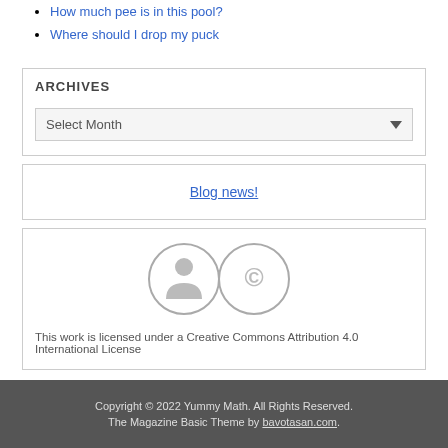How much pee is in this pool?
Where should I drop my puck
ARCHIVES
Select Month
Blog news!
[Figure (other): Creative Commons Attribution 4.0 International License icon with person and creative commons symbols]
This work is licensed under a Creative Commons Attribution 4.0 International License
Copyright © 2022 Yummy Math. All Rights Reserved. The Magazine Basic Theme by bavotasan.com.